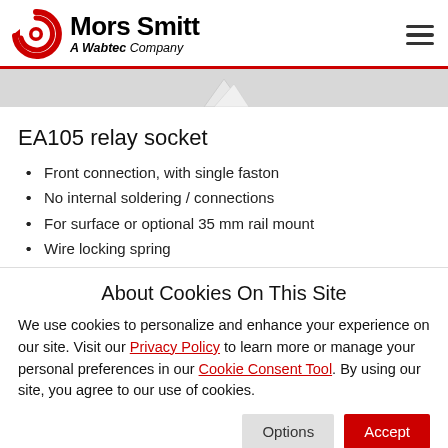Mors Smitt – A Wabtec Company
[Figure (photo): Partial view of EA105 relay socket product image, showing white/grey product on grey background]
EA105 relay socket
Front connection, with single faston
No internal soldering / connections
For surface or optional 35 mm rail mount
Wire locking spring
About Cookies On This Site
We use cookies to personalize and enhance your experience on our site. Visit our Privacy Policy to learn more or manage your personal preferences in our Cookie Consent Tool. By using our site, you agree to our use of cookies.